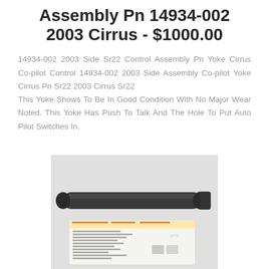Assembly Pn 14934-002 2003 Cirrus - $1000.00
14934-002 2003 Side Sr22 Control Assembly Pn Yoke Cirrus Co-pilot Control 14934-002 2003 Side Assembly Co-pilot Yoke Cirrus Pn Sr22 2003 Cirrus Sr22 This Yoke Shows To Be In Good Condition With No Major Wear Noted. This Yoke Has Push To Talk And The Hole To Put Auto Pilot Switches In.
[Figure (photo): Photo of a dark/black cylindrical aircraft yoke control assembly part (appears to be a shaft/tube), placed on a light gray surface alongside a business card/parts catalog card with text and logos.]